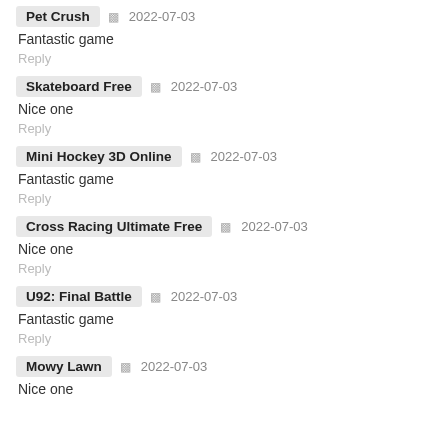Pet Crush   2022-07-03
Fantastic game
Reply
Skateboard Free   2022-07-03
Nice one
Reply
Mini Hockey 3D Online   2022-07-03
Fantastic game
Reply
Cross Racing Ultimate Free   2022-07-03
Nice one
Reply
U92: Final Battle   2022-07-03
Fantastic game
Reply
Mowy Lawn   2022-07-03
Nice one